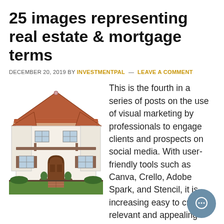25 images representing real estate & mortgage terms
DECEMBER 20, 2019 BY INVESTMENTPAL — LEAVE A COMMENT
[Figure (illustration): Hand-drawn illustration of a two-story Spanish-style house with terracotta roof, arched doorway, and landscaping]
This is the fourth in a series of posts on the use of visual marketing by professionals to engage clients and prospects on social media. With user-friendly tools such as Canva, Crello, Adobe Spark, and Stencil, it is increasing easy to create relevant and appealing images – be it in the area of finance, insurance, accounting, […]